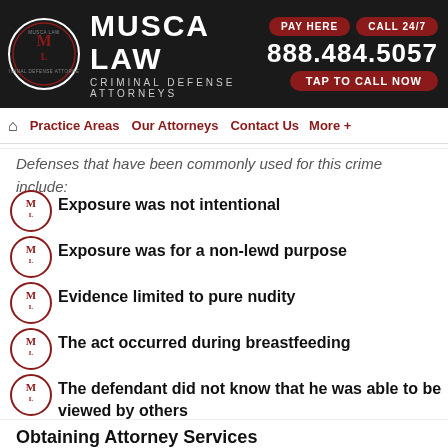[Figure (logo): Musca Law Criminal Defense Attorneys logo with phone number, PAY HERE and CALL 24/7 buttons, and TAP TO CALL NOW button]
Practice Areas  Our Attorneys  Contact Us  More +
Defenses that have been commonly used for this crime include:
Exposure was not intentional
Exposure was for a non-lewd purpose
Evidence limited to pure nudity
The act occurred during breastfeeding
The defendant did not know that he was able to be viewed by others
The defendant was unaware that others were in his or her presence
Obtaining Attorney Services